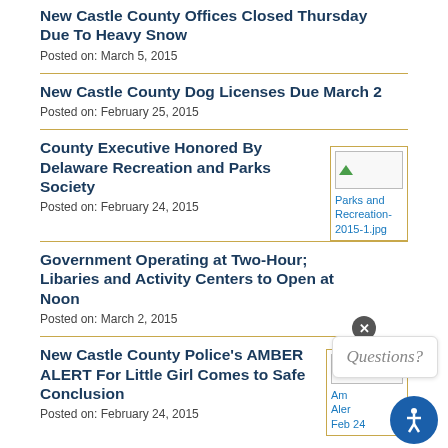New Castle County Offices Closed Thursday Due To Heavy Snow
Posted on: March 5, 2015
New Castle County Dog Licenses Due March 2
Posted on: February 25, 2015
County Executive Honored By Delaware Recreation and Parks Society
Posted on: February 24, 2015
[Figure (photo): Parks and Recreation image thumbnail with filename Parks and Recreation-2015-1.jpg]
Government Operating at Two-Hour; Libaries and Activity Centers to Open at Noon
Posted on: March 2, 2015
New Castle County Police's AMBER ALERT For Little Girl Comes to Safe Conclusion
Posted on: February 24, 2015
[Figure (photo): Amber Alert image thumbnail labeled Am Aler Feb 24]